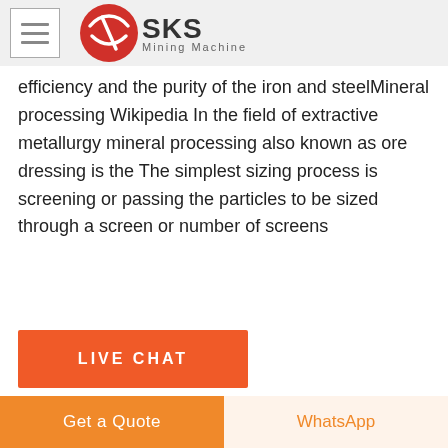SKS Mining Machine
efficiency and the purity of the iron and steelMineral processing Wikipedia In the field of extractive metallurgy mineral processing also known as ore dressing is the The simplest sizing process is screening or passing the particles to be sized through a screen or number of screens
LIVE CHAT
[Figure (photo): Close-up photo of mining/mineral processing machine equipment, showing white casing and circular component]
Get a Quote
WhatsApp